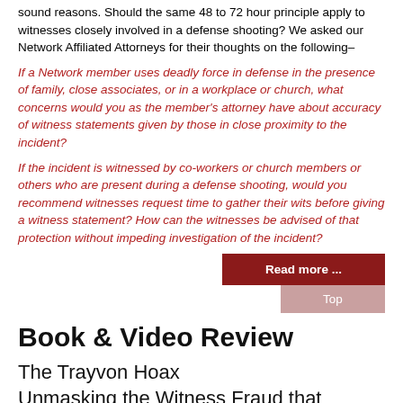sound reasons. Should the same 48 to 72 hour principle apply to witnesses closely involved in a defense shooting? We asked our Network Affiliated Attorneys for their thoughts on the following–
If a Network member uses deadly force in defense in the presence of family, close associates, or in a workplace or church, what concerns would you as the member's attorney have about accuracy of witness statements given by those in close proximity to the incident?
If the incident is witnessed by co-workers or church members or others who are present during a defense shooting, would you recommend witnesses request time to gather their wits before giving a witness statement? How can the witnesses be advised of that protection without impeding investigation of the incident?
Read more ...
Top
Book & Video Review
The Trayvon Hoax
Unmasking the Witness Fraud that